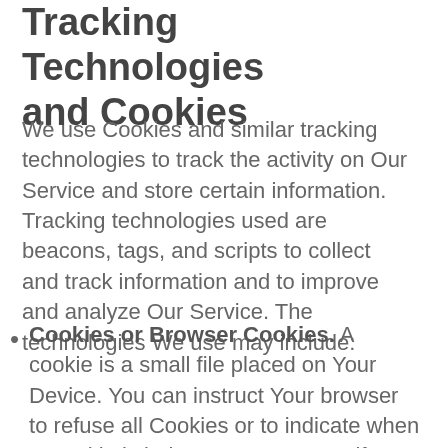Tracking Technologies and Cookies
We use Cookies and similar tracking technologies to track the activity on Our Service and store certain information. Tracking technologies used are beacons, tags, and scripts to collect and track information and to improve and analyze Our Service. The technologies We use may include:
Cookies or Browser Cookies. A cookie is a small file placed on Your Device. You can instruct Your browser to refuse all Cookies or to indicate when a Cookie is being sent. However, if You do not accept Cookies, You may not be